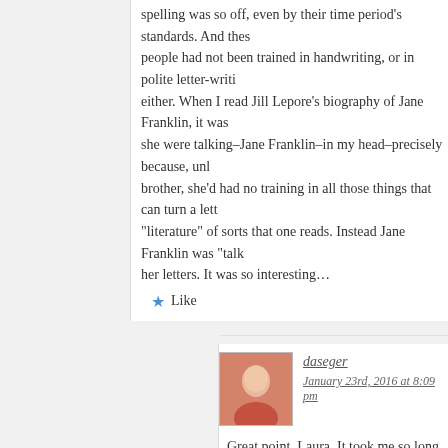spelling was so off, even by their time period's standards. And these people had not been trained in handwriting, or in polite letter-writing either. When I read Jill Lepore's biography of Jane Franklin, it was she were talking–Jane Franklin–in my head–precisely because, unlike her brother, she'd had no training in all those things that can turn a letter "literature" of sorts that one reads. Instead Jane Franklin was "talk her letters. It was so interesting…
Like
daseger
January 23rd, 2016 at 8:09 pm
Great point, Laura. It took me so long to read 16th century for my dissertation–I was interested in these 17th century instructional texts precisely because they began the process standardization…..but it took a while.
Like
Brian Bixby
January 24th, 2016 at 8:26 pm